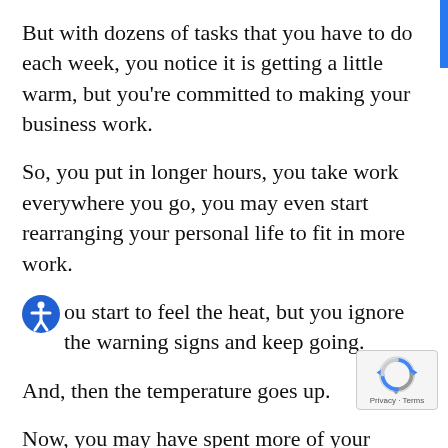But with dozens of tasks that you have to do each week, you notice it is getting a little warm, but you're committed to making your business work.
So, you put in longer hours, you take work everywhere you go, you may even start rearranging your personal life to fit in more work.
You start to feel the heat, but you ignore the warning signs and keep going.
And, then the temperature goes up.
Now, you may have spent more of your savings than you initially anticipated, the customers aren't coming as fast as you need them, or maybe your starting to burn out.
Little by little...